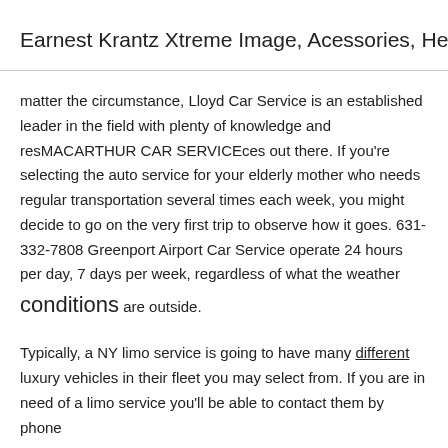Earnest Krantz Xtreme Image, Acessories, Henderson
matter the circumstance, Lloyd Car Service is an established leader in the field with plenty of knowledge and resMACARTHUR CAR SERVICEces out there. If you're selecting the auto service for your elderly mother who needs regular transportation several times each week, you might decide to go on the very first trip to observe how it goes. 631-332-7808 Greenport Airport Car Service operate 24 hours per day, 7 days per week, regardless of what the weather conditions are outside.
Typically, a NY limo service is going to have many different luxury vehicles in their fleet you may select from. If you are in need of a limo service you'll be able to contact them by phone